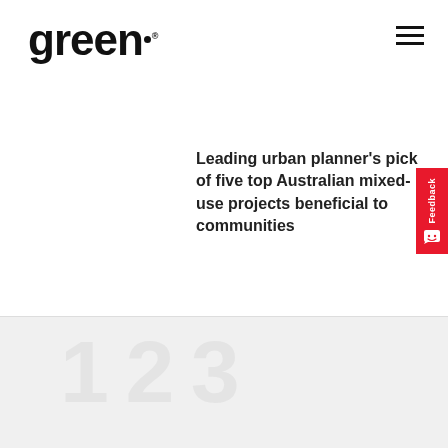[Figure (logo): Green Magazine logo in bold black text with a small dot/period mark, top left of page header]
[Figure (other): Hamburger menu icon — three horizontal black lines, top right corner]
Leading urban planner's pick of five top Australian mixed-use projects beneficial to communities
[Figure (other): Red vertical Feedback tab on right edge with smiley face icon]
[Figure (logo): Green Magazine logo in bold black text, bottom section]
Green Magazine is Australia's leading publication for inspirational stories on sustainable design featuring